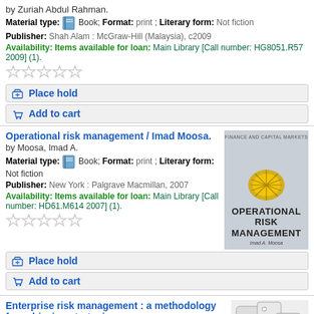by Zuriah Abdul Rahman.
Material type: Book; Format: print ; Literary form: Not fiction
Publisher: Shah Alam : McGraw-Hill (Malaysia), c2009
Availability: Items available for loan: Main Library [Call number: HG8051.R57 2009] (1).
[Figure (other): Five empty star rating icons]
Place hold
Add to cart
Operational risk management / Imad Moosa.
by Moosa, Imad A.
Material type: Book; Format: print ; Literary form: Not fiction
Publisher: New York : Palgrave Macmillan, 2007
Availability: Items available for loan: Main Library [Call number: HD61.M614 2007] (1).
[Figure (photo): Book cover of Operational Risk Management by Imad A. Moosa, Finance and Capital Markets series, grey cover with gold emblem]
[Figure (other): Five empty star rating icons]
Place hold
Add to cart
Enterprise risk management : a methodology for achieving strategic
[Figure (photo): Book cover showing dice, partial view]